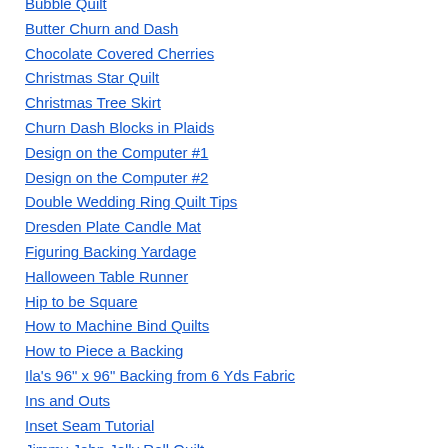Bubble Quilt
Butter Churn and Dash
Chocolate Covered Cherries
Christmas Star Quilt
Christmas Tree Skirt
Churn Dash Blocks in Plaids
Design on the Computer #1
Design on the Computer #2
Double Wedding Ring Quilt Tips
Dresden Plate Candle Mat
Figuring Backing Yardage
Halloween Table Runner
Hip to be Square
How to Machine Bind Quilts
How to Piece a Backing
Ila's 96" x 96" Backing from 6 Yds Fabric
Ins and Outs
Inset Seam Tutorial
Jimmy John Jelly Roll Quilt